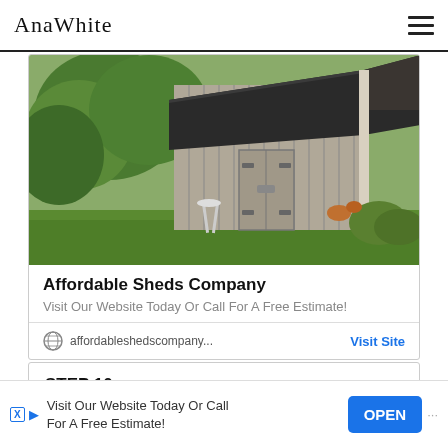Ana White
[Figure (photo): Photograph of a weathered wooden barn/shed with a dark shingle roof, surrounded by green trees and vegetation, with a metal folding chair in the foreground.]
Affordable Sheds Company
Visit Our Website Today Or Call For A Free Estimate!
affordableshedscompany...   Visit Site
STEP 10
Visit Our Website Today Or Call For A Free Estimate!